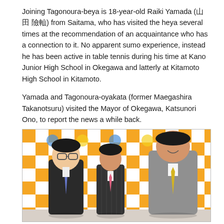Joining Tagonoura-beya is 18-year-old Raiki Yamada (山田 雷輝) from Saitama, who has visited the heya several times at the recommendation of an acquaintance who has a connection to it. No apparent sumo experience, instead he has been active in table tennis during his time at Kano Junior High School in Okegawa and latterly at Kitamoto High School in Kitamoto.
Yamada and Tagonoura-oyakata (former Maegashira Takanotsuru) visited the Mayor of Okegawa, Katsunori Ono, to report the news a while back.
[Figure (photo): Three men standing in front of an orange and white checkerboard backdrop with Japanese mascot character logos. On the left is a young heavyset man in a dark suit with a striped tie. In the center is a slender man in a dark pinstripe suit with a pink tie. On the right is a large heavyset man in a gray suit with a yellow tie.]